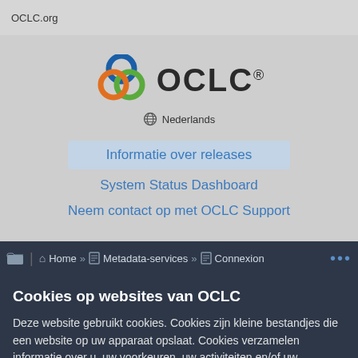OCLC.org
[Figure (logo): OCLC logo with three overlapping circles (blue, green, orange) and the text 'OCLC' in dark gray with a registered trademark symbol]
Nederlands
Informatie over releases
System Status Dashboard
Neem contact op met OCLC Support
Home » Metadata-services » Connexion ...
Cookies op websites van OCLC
Deze website gebruikt cookies. Cookies zijn kleine bestandjes die een website op uw apparaat opslaat. Cookies verzamelen informatie over u, uw voorkeuren, uw activiteiten en/of uw apparaat.